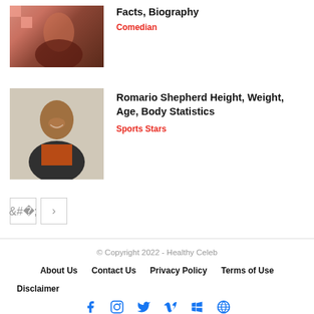[Figure (photo): Photo of a male comedian, dark clothing]
Facts, Biography
Comedian
[Figure (photo): Photo of Romario Shepherd, smiling, pointing, orange shirt]
Romario Shepherd Height, Weight, Age, Body Statistics
Sports Stars
© Copyright 2022 - Healthy Celeb
About Us
Contact Us
Privacy Policy
Terms of Use
Disclaimer
[Figure (other): Social media icons: Facebook, Instagram, Twitter, Vimeo, Windows, WordPress]